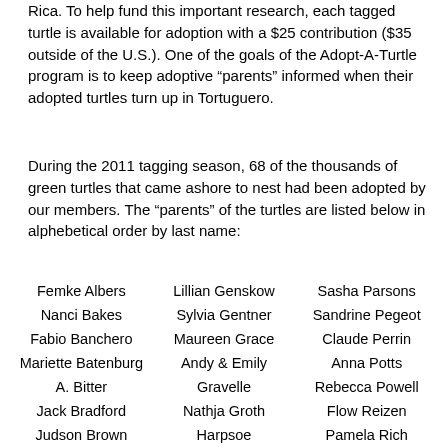Rica. To help fund this important research, each tagged turtle is available for adoption with a $25 contribution ($35 outside of the U.S.). One of the goals of the Adopt-A-Turtle program is to keep adoptive “parents” informed when their adopted turtles turn up in Tortuguero.
During the 2011 tagging season, 68 of the thousands of green turtles that came ashore to nest had been adopted by our members. The “parents” of the turtles are listed below in alphebetical order by last name:
Femke Albers
Nanci Bakes
Fabio Banchero
Mariette Batenburg
A. Bitter
Jack Bradford
Judson Brown
Lena & Anke Burkhardt
Valerie Bush
Lillian Genskow
Sylvia Gentner
Maureen Grace
Andy & Emily Gravelle
Nathja Groth
Harpsoe
Blaine Hendrickson
Jacqueline Higueret
Bernard Hugvelte
Sasha Parsons
Sandrine Pegeot
Claude Perrin
Anna Potts
Rebecca Powell
Flow Reizen
Pamela Rich
Kayla Roble
Alex Sadai